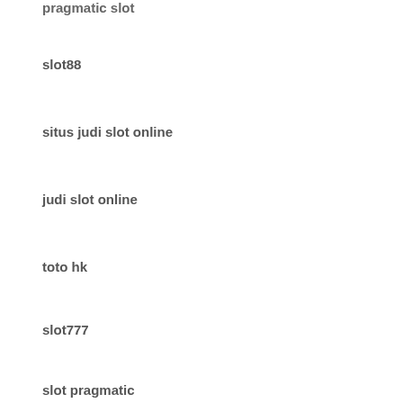pragmatic slot
slot88
situs judi slot online
judi slot online
toto hk
slot777
slot pragmatic